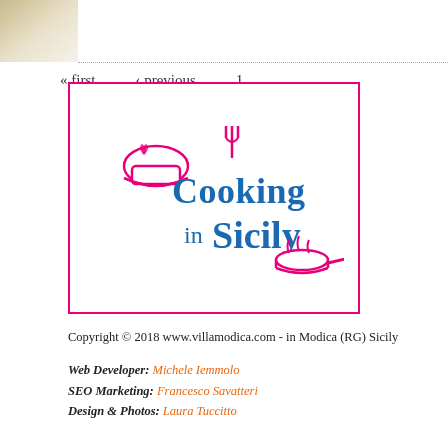« first  ‹ previous  1
[Figure (logo): Cooking in Sicily logo with chef hat and pan graphics in pink and blue]
Copyright © 2018 www.villamodica.com - in Modica (RG) Sicily
Web Developer: Michele Iemmolo
SEO Marketing: Francesco Savatteri
Design & Photos: Laura Tuccitto